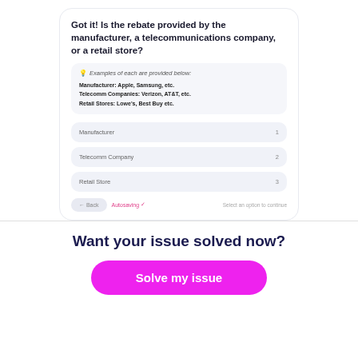Got it! Is the rebate provided by the manufacturer, a telecommunications company, or a retail store?
Examples of each are provided below:
Manufacturer: Apple, Samsung, etc.
Telecomm Companies: Verizon, AT&T, etc.
Retail Stores: Lowe's, Best Buy etc.
Manufacturer  1
Telecomm Company  2
Retail Store  3
Back  Autosaving ✓  Select an option to continue
Want your issue solved now?
Solve my issue